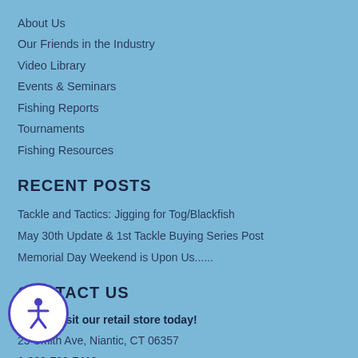About Us
Our Friends in the Industry
Video Library
Events & Seminars
Fishing Reports
Tournaments
Fishing Resources
RECENT POSTS
Tackle and Tactics: Jigging for Tog/Blackfish
May 30th Update & 1st Tackle Buying Series Post
Memorial Day Weekend is Upon Us......
CONTACT US
Call or Visit our retail store today!
25 Smith Ave, Niantic, CT 06357
1-860-739-7419
Retail Store Hours
9am-5pm ET Mon-Sat